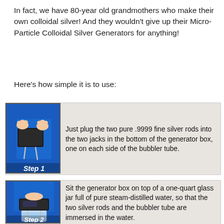In fact, we have 80-year old grandmothers who make their own colloidal silver! And they wouldn't give up their Micro-Particle Colloidal Silver Generators for anything!
Here's how simple it is to use:
[Figure (photo): Step 1 photo showing hands plugging silver rods into a black generator box against a blue background, labeled 'Step 1']
Just plug the two pure .9999 fine silver rods into the two jacks in the bottom of the generator box, one on each side of the bubbler tube.
[Figure (photo): Step 2 photo showing the generator box being placed on top of a glass jar of water against a blue background, labeled 'Step 2']
Sit the generator box on top of a one-quart glass jar full of pure steam-distilled water, so that the two silver rods and the bubbler tube are immersed in the water.